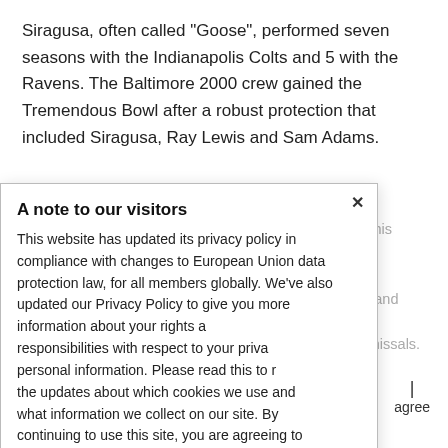Siragusa, often called “Goose”, performed seven seasons with the Indianapolis Colts and 5 with the Ravens. The Baltimore 2000 crew gained the Tremendous Bowl after a robust protection that included Siragusa, Ray Lewis and Sam Adams.
A note to our visitors
This website has updated its privacy policy in compliance with changes to European Union data protection law, for all members globally. We’ve also updated our Privacy Policy to give you more information about your rights and responsibilities with respect to your privacy and personal information. Please read this to review the updates about which cookies we use and what information we collect on our site. By continuing to use this site, you are agreeing to our updated privacy policy.
Siragusa got here to Baltimore as a free agent in 1997 and joined Adams to type an imposing tandem of defensive interventions. He completed his profession with 22 dismissals.
BALTIMORE (AP) – Jaylon Ferguson, who set an